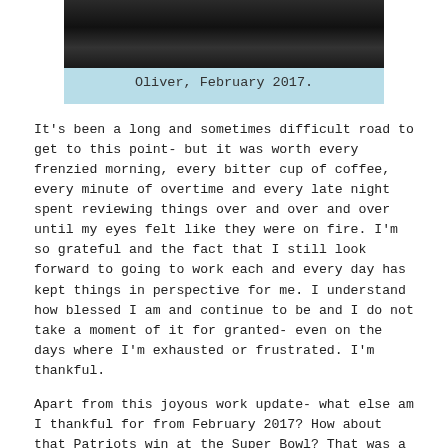[Figure (photo): A dark/black photograph, likely an ultrasound or low-light image of Oliver, February 2017.]
Oliver, February 2017.
It's been a long and sometimes difficult road to get to this point- but it was worth every frenzied morning, every bitter cup of coffee, every minute of overtime and every late night spent reviewing things over and over and over until my eyes felt like they were on fire. I'm so grateful and the fact that I still look forward to going to work each and every day has kept things in perspective for me. I understand how blessed I am and continue to be and I do not take a moment of it for granted- even on the days where I'm exhausted or frustrated. I'm thankful.
Apart from this joyous work update- what else am I thankful for from February 2017? How about that Patriots win at the Super Bowl? That was a wonderful way to start the month, wasn't it? I love nail biter games with unexpected endings- and that one pretty much took the cake in that department! The resulting week-long